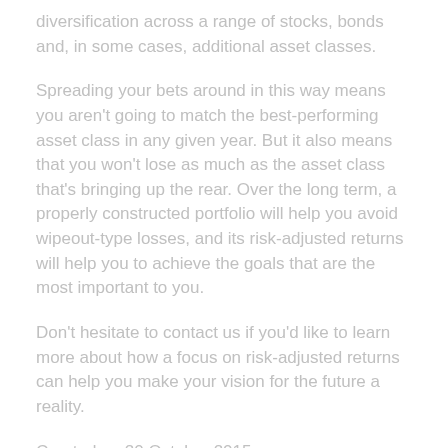diversification across a range of stocks, bonds and, in some cases, additional asset classes.
Spreading your bets around in this way means you aren't going to match the best-performing asset class in any given year. But it also means that you won't lose as much as the asset class that's bringing up the rear. Over the long term, a properly constructed portfolio will help you avoid wipeout-type losses, and its risk-adjusted returns will help you to achieve the goals that are the most important to you.
Don't hesitate to contact us if you'd like to learn more about how a focus on risk-adjusted returns can help you make your vision for the future a reality.
Created on 20 October 2015.